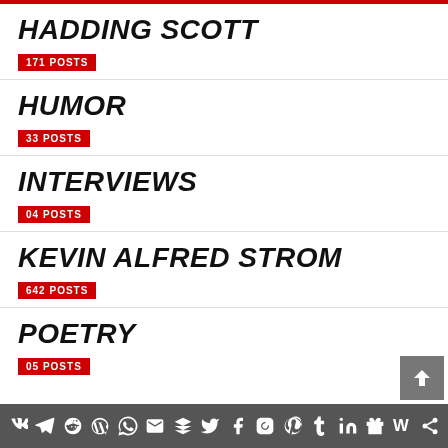HADDING SCOTT
171 POSTS
HUMOR
33 POSTS
INTERVIEWS
04 POSTS
KEVIN ALFRED STROM
642 POSTS
POETRY
05 POSTS
Social media sharing icons bar